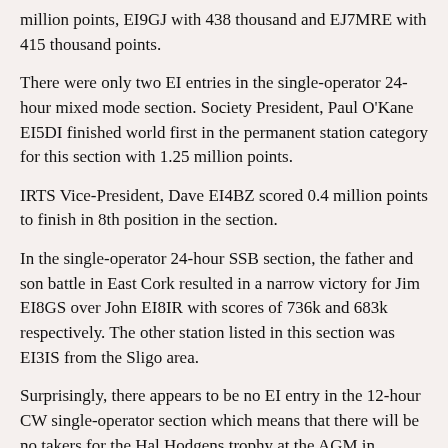million points, EI9GJ with 438 thousand and EJ7MRE with 415 thousand points.
There were only two EI entries in the single-operator 24-hour mixed mode section. Society President, Paul O'Kane EI5DI finished world first in the permanent station category for this section with 1.25 million points.
IRTS Vice-President, Dave EI4BZ scored 0.4 million points to finish in 8th position in the section.
In the single-operator 24-hour SSB section, the father and son battle in East Cork resulted in a narrow victory for Jim EI8GS over John EI8IR with scores of 736k and 683k respectively. The other station listed in this section was EI3IS from the Sligo area.
Surprisingly, there appears to be no EI entry in the 12-hour CW single-operator section which means that there will be no takers for the Hal Hodgens trophy at the AGM in Monaghan. Let's hope we'll have some competition for it in the next IOTA contest at the end of July.
Millennium WAI Award
A new Millennium Worked All Ireland Award has just been announced.